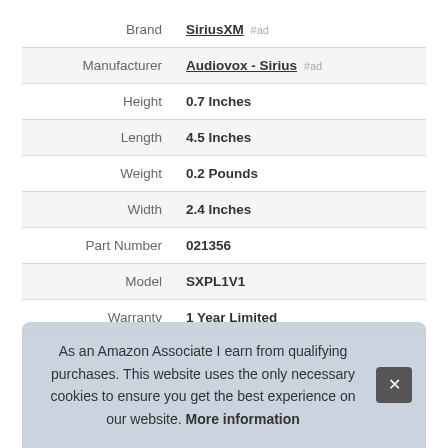| Attribute | Value |
| --- | --- |
| Brand | SiriusXM #ad |
| Manufacturer | Audiovox - Sirius #ad |
| Height | 0.7 Inches |
| Length | 4.5 Inches |
| Weight | 0.2 Pounds |
| Width | 2.4 Inches |
| Part Number | 021356 |
| Model | SXPL1V1 |
| Warranty | 1 Year Limited |
As an Amazon Associate I earn from qualifying purchases. This website uses the only necessary cookies to ensure you get the best experience on our website. More information